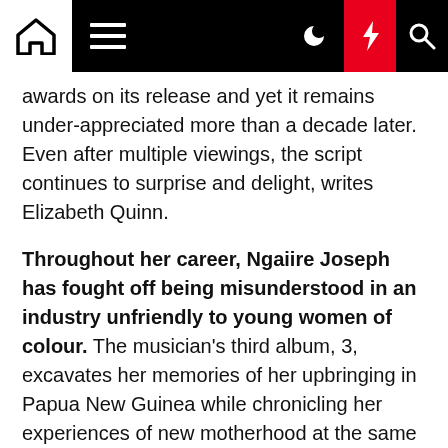Navigation bar with home, menu, moon, bolt, and search icons
awards on its release and yet it remains under-appreciated more than a decade later. Even after multiple viewings, the script continues to surprise and delight, writes Elizabeth Quinn.
Throughout her career, Ngaiire Joseph has fought off being misunderstood in an industry unfriendly to young women of colour. The musician's third album, 3, excavates her memories of her upbringing in Papua New Guinea while chronicling her experiences of new motherhood at the same time. A richly produced set of electronic-tinged soul songs, it's an album that's vividly drawn and stylistically fleet-footed, writes Shaad D'Souza.
Listen
The Delta variant is spreading among children